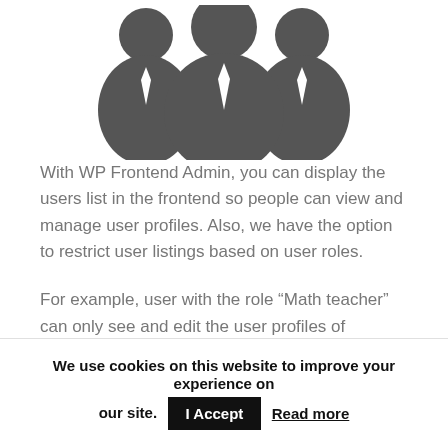[Figure (illustration): Three dark gray silhouette icons of business people with ties, arranged side by side — a smaller figure on the left, a larger central figure, and a smaller figure on the right.]
With WP Frontend Admin, you can display the users list in the frontend so people can view and manage user profiles. Also, we have the option to restrict user listings based on user roles.
For example, user with the role “Math teacher” can only see and edit the user profiles of students with role “Math students”.
This can be used for many purposes, like allow
We use cookies on this website to improve your experience on our site. I Accept Read more